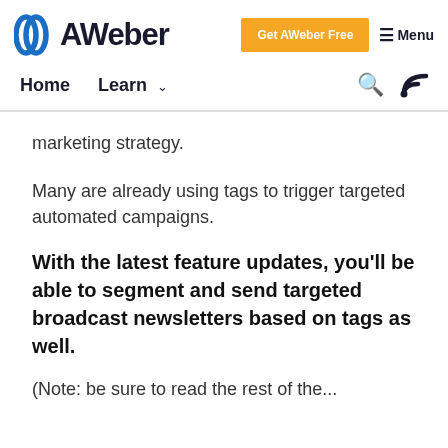AWeber — Get AWeber Free — Menu
Home  Learn  [search] [rss]
marketing strategy.
Many are already using tags to trigger targeted automated campaigns.
With the latest feature updates, you'll be able to segment and send targeted broadcast newsletters based on tags as well.
(Note: be sure to read the rest of the...